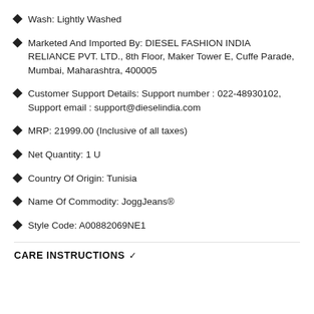Wash: Lightly Washed
Marketed And Imported By: DIESEL FASHION INDIA RELIANCE PVT. LTD., 8th Floor, Maker Tower E, Cuffe Parade, Mumbai, Maharashtra, 400005
Customer Support Details: Support number : 022-48930102, Support email : support@dieselindia.com
MRP: 21999.00 (Inclusive of all taxes)
Net Quantity: 1 U
Country Of Origin: Tunisia
Name Of Commodity: JoggJeans®
Style Code: A00882069NE1
CARE INSTRUCTIONS